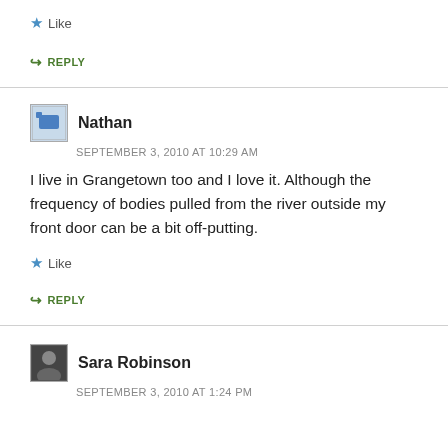★ Like
➤ REPLY
Nathan
SEPTEMBER 3, 2010 AT 10:29 AM
I live in Grangetown too and I love it. Although the frequency of bodies pulled from the river outside my front door can be a bit off-putting.
★ Like
➤ REPLY
Sara Robinson
SEPTEMBER 3, 2010 AT 1:24 PM